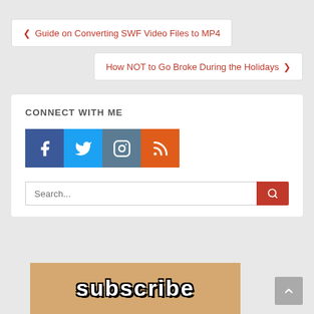❮ Guide on Converting SWF Video Files to MP4
How NOT to Go Broke During the Holidays ❯
CONNECT WITH ME
[Figure (infographic): Social media icons: Facebook (dark blue), Twitter (light blue), Instagram (slate blue), RSS (orange)]
[Figure (screenshot): Search bar with placeholder 'Search...' and red search button]
[Figure (photo): Subscribe meme image with person and text 'subscribe' in impact font]